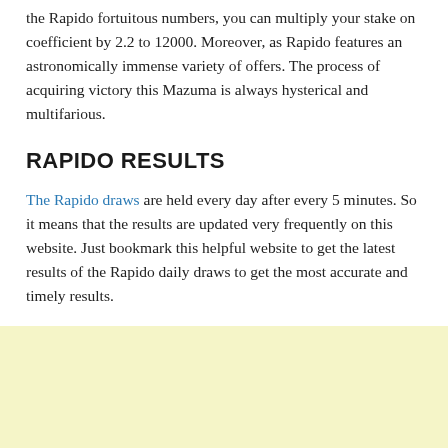the Rapido fortuitous numbers, you can multiply your stake on coefficient by 2.2 to 12000. Moreover, as Rapido features an astronomically immense variety of offers. The process of acquiring victory this Mazuma is always hysterical and multifarious.
RAPIDO RESULTS
The Rapido draws are held every day after every 5 minutes. So it means that the results are updated very frequently on this website. Just bookmark this helpful website to get the latest results of the Rapido daily draws to get the most accurate and timely results.